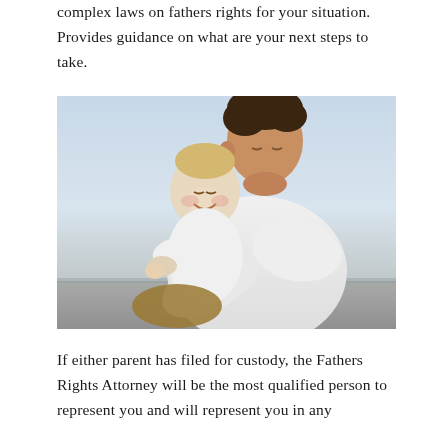complex laws on fathers rights for your situation. Provides guidance on what are your next steps to take.
[Figure (photo): A father in a white long-sleeve shirt holding and embracing a smiling toddler dressed in white, photographed outdoors against a light overcast sky background.]
If either parent has filed for custody, the Fathers Rights Attorney will be the most qualified person to represent you and will represent you in any